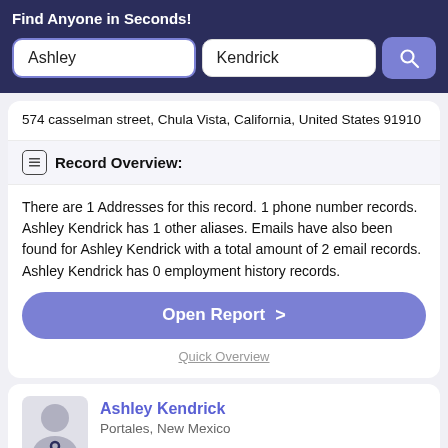Find Anyone in Seconds!
Ashley
Kendrick
574 casselman street, Chula Vista, California, United States 91910
Record Overview:
There are 1 Addresses for this record. 1 phone number records. Ashley Kendrick has 1 other aliases. Emails have also been found for Ashley Kendrick with a total amount of 2 email records. Ashley Kendrick has 0 employment history records.
Open Report  >
Quick Overview
Ashley Kendrick
Portales, New Mexico